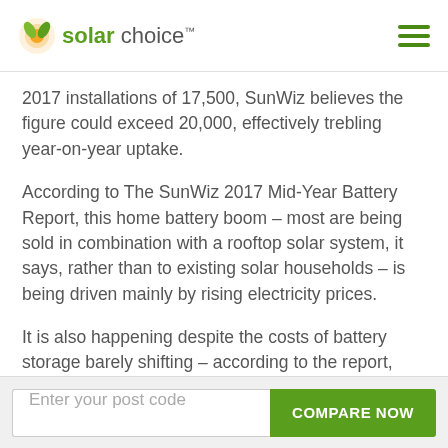solar choice
2017 installations of 17,500, SunWiz believes the figure could exceed 20,000, effectively trebling year-on-year uptake.
According to The SunWiz 2017 Mid-Year Battery Report, this home battery boom – most are being sold in combination with a rooftop solar system, it says, rather than to existing solar households – is being driven mainly by rising electricity prices.
It is also happening despite the costs of battery storage barely shifting – according to the report, they have dropped by just around 5 per cent since January, primarily due to increased competition among wholesalers.
Enter your post code | COMPARE NOW